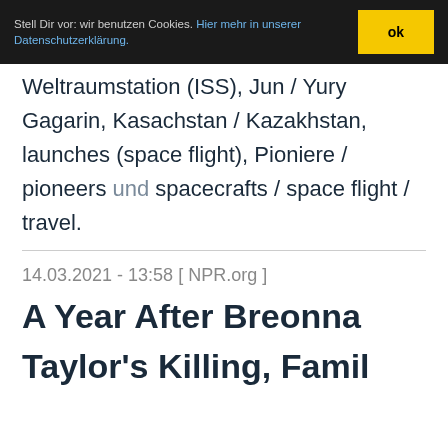Stell Dir vor: wir benutzen Cookies. Hier mehr in unserer Datenschutzerklärung. ok
Weltraumstation (ISS), Jun / Yury Gagarin, Kasachstan / Kazakhstan, launches (space flight), Pioniere / pioneers und spacecrafts / space flight / travel.
14.03.2021 - 13:58 [ NPR.org ]
A Year After Breonna Taylor's Killing, Family S...